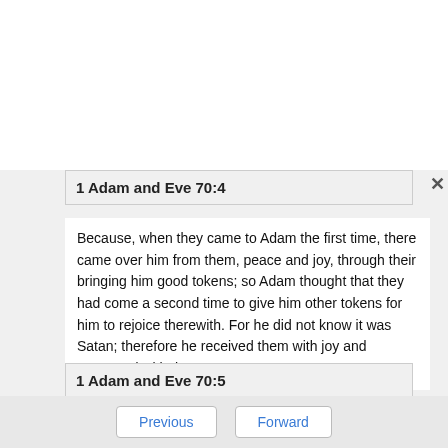1 Adam and Eve 70:4
Because, when they came to Adam the first time, there came over him from them, peace and joy, through their bringing him good tokens; so Adam thought that they had come a second time to give him other tokens for him to rejoice therewith. For he did not know it was Satan; therefore he received them with joy and consorted with them.
1 Adam and Eve 70:5
Then Satan, the tallest of them, said, "Rejoice, O
Previous  Forward